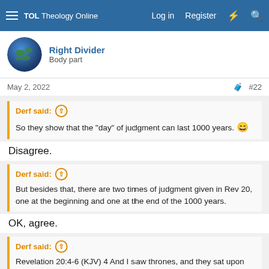TOL Theology Online — Log in Register
Right Divider
Body part
May 2, 2022  #22
Derf said: ↑ So they show that the "day" of judgment can last 1000 years. 😄
Disagree.
Derf said: ↑ But besides that, there are two times of judgment given in Rev 20, one at the beginning and one at the end of the 1000 years.
OK, agree.
Derf said: ↑ Revelation 20:4-6 (KJV) 4 And I saw thrones, and they sat upon them, and judgment was given unto them: and [I saw] the souls of them that